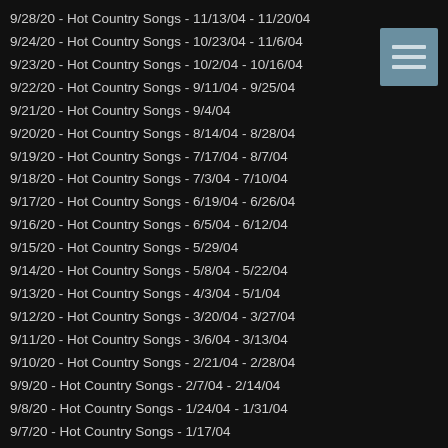9/28/20 - Hot Country Songs - 11/13/04 - 11/20/04
9/24/20 - Hot Country Songs - 10/23/04 - 11/6/04
9/23/20 - Hot Country Songs - 10/2/04 - 10/16/04
9/22/20 - Hot Country Songs - 9/11/04 - 9/25/04
9/21/20 - Hot Country Songs - 9/4/04
9/20/20 - Hot Country Songs - 8/14/04 - 8/28/04
9/19/20 - Hot Country Songs - 7/17/04 - 8/7/04
9/18/20 - Hot Country Songs - 7/3/04 - 7/10/04
9/17/20 - Hot Country Songs - 6/19/04 - 6/26/04
9/16/20 - Hot Country Songs - 6/5/04 - 6/12/04
9/15/20 - Hot Country Songs - 5/29/04
9/14/20 - Hot Country Songs - 5/8/04 - 5/22/04
9/13/20 - Hot Country Songs - 4/3/04 - 5/1/04
9/12/20 - Hot Country Songs - 3/20/04 - 3/27/04
9/11/20 - Hot Country Songs - 3/6/04 - 3/13/04
9/10/20 - Hot Country Songs - 2/21/04 - 2/28/04
9/9/20 - Hot Country Songs - 2/7/04 - 2/14/04
9/8/20 - Hot Country Songs - 1/24/04 - 1/31/04
9/7/20 - Hot Country Songs - 1/17/04
9/5/20 - Hot Country Songs - 1/3/04 - 1/10/04
9/4/20 - Adult Top 40 - 12/4/04 - 12/25/04